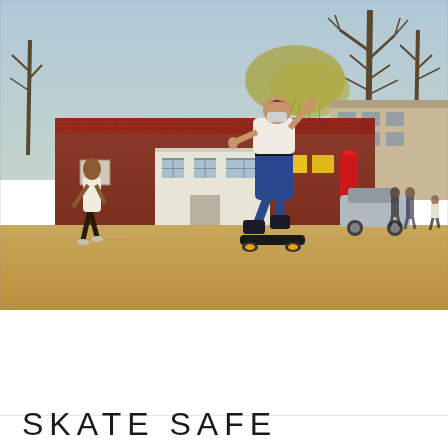[Figure (photo): Outdoor photograph of a skateboarder performing a trick (kickflip or ollie) in mid-air above a skateboard, in an open paved area. The skater wears a white t-shirt and blue jeans. In the background, another person in a white tank top and shorts walks, and a red-brick low building with white-framed windows is visible. Trees and additional buildings appear in the background on a sunny day.]
SKATE SAFE